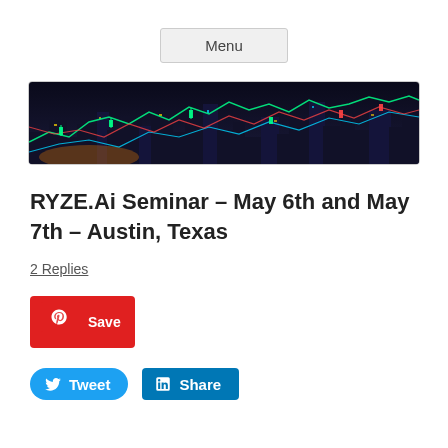Menu
[Figure (photo): Night cityscape of Austin Texas with overlaid colorful stock market trading chart lines and candlestick patterns in green, red, and blue on a dark background]
RYZE.Ai Seminar – May 6th and May 7th – Austin, Texas
2 Replies
[Figure (infographic): Social sharing buttons: Pinterest Save button (red), Twitter Tweet button (blue rounded), LinkedIn Share button (blue square)]